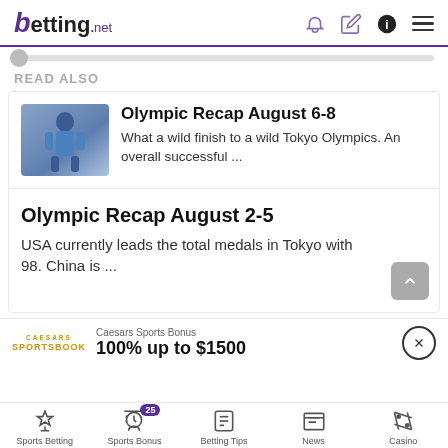betting.net
READ ALSO
Olympic Recap August 6-8
What a wild finish to a wild Tokyo Olympics. An overall successful ...
Olympic Recap August 2-5
USA currently leads the total medals in Tokyo with 98. China is ...
Caesars Sports Bonus
100% up to $1500
Sports Betting | Sports Bonus 25 | Betting Tips | News | Casino